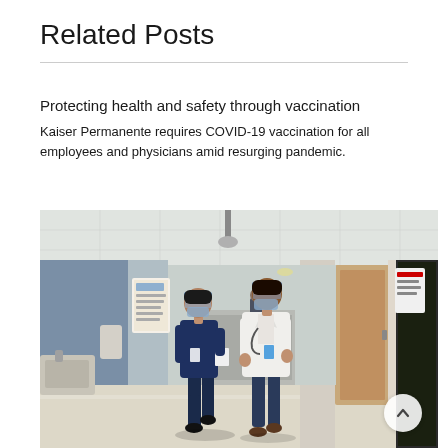Related Posts
Protecting health and safety through vaccination
Kaiser Permanente requires COVID-19 vaccination for all employees and physicians amid resurging pandemic.
[Figure (photo): Two healthcare workers wearing face shields and masks walking down a hospital hallway. One is in navy scrubs, the other in a white doctor's coat. The hallway shows exam room doors on the right, a nurse's station in the background, and medical equipment on the left.]